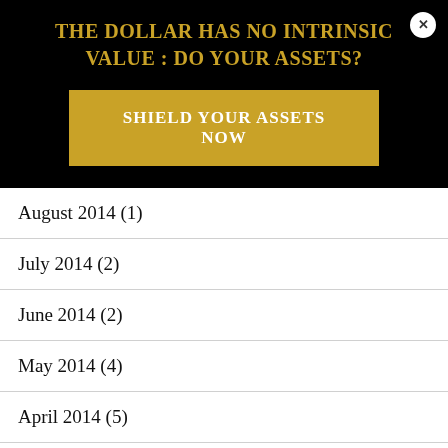THE DOLLAR HAS NO INTRINSIC VALUE : DO YOUR ASSETS?
SHIELD YOUR ASSETS NOW
August 2014 (1)
July 2014 (2)
June 2014 (2)
May 2014 (4)
April 2014 (5)
March 2014 (8)
February 2014 (8)
January 2014 (3)